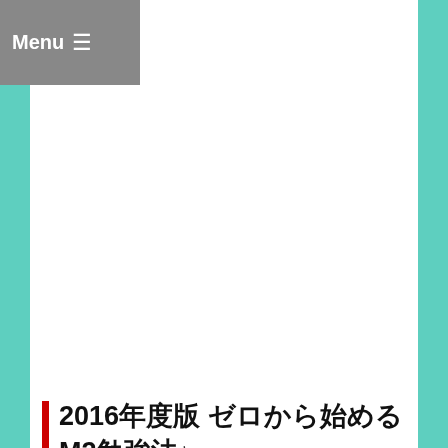Menu ☰
2016年度版 ゼロから始めるM2勉強法♪
M1は基礎知識の確認と整理★M2勉強法♪
2016年度版 ゼロから始めるM2勉強法♪